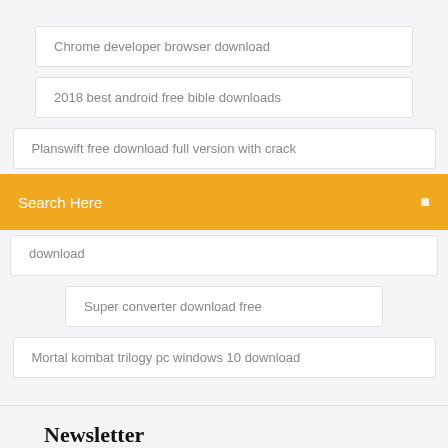Chrome developer browser download
2018 best android free bible downloads
Planswift free download full version with crack
Search Here
download
Super converter download free
Mortal kombat trilogy pc windows 10 download
Newsletter